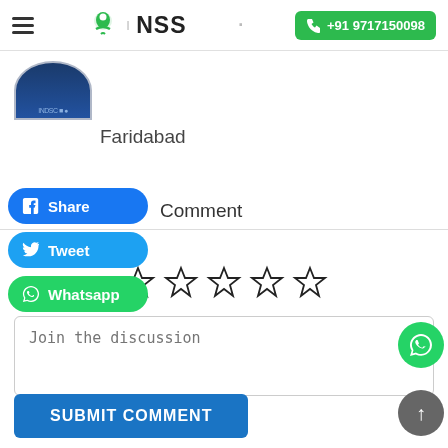NSS | +91 9717150098
[Figure (photo): Partial circular profile image showing a dark blue background with partial text, cropped at bottom of header area]
Faridabad
[Figure (infographic): Facebook Share button (blue rounded pill), Twitter Tweet button (blue rounded pill), WhatsApp Whatsapp button (green rounded pill)]
Comment
[Figure (infographic): Five empty star rating icons in a row]
Join the discussion
SUBMIT COMMENT